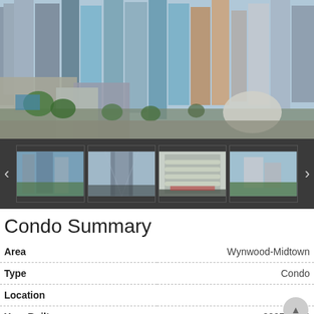[Figure (photo): Aerial view of Miami high-rise condominiums and city skyline with multiple tall glass and concrete buildings, streets lined with palm trees]
[Figure (photo): Thumbnail strip with navigation arrows showing four smaller building photos: exterior of condo tower, upward angle of glass tower, curved balconies building exterior, and small building with green grounds]
Condo Summary
| Field | Value |
| --- | --- |
| Area | Wynwood-Midtown |
| Type | Condo |
| Location |  |
| Year Built | 2007-2008 |